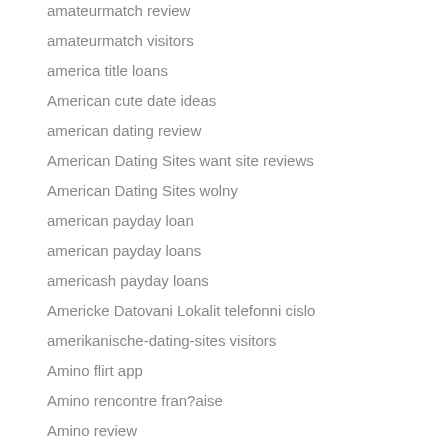amateurmatch review
amateurmatch visitors
america title loans
American cute date ideas
american dating review
American Dating Sites want site reviews
American Dating Sites wolny
american payday loan
american payday loans
americash payday loans
Americke Datovani Lokalit telefonni cislo
amerikanische-dating-sites visitors
Amino flirt app
Amino rencontre fran?aise
Amino review